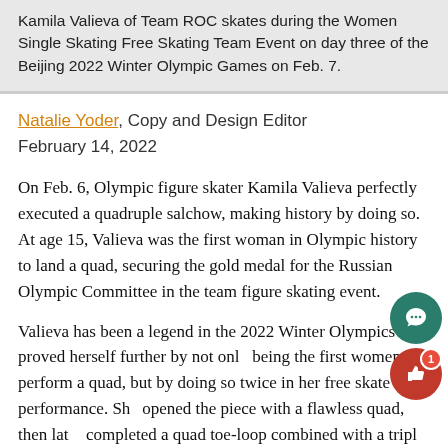Kamila Valieva of Team ROC skates during the Women Single Skating Free Skating Team Event on day three of the Beijing 2022 Winter Olympic Games on Feb. 7.
Natalie Yoder, Copy and Design Editor
February 14, 2022
On Feb. 6, Olympic figure skater Kamila Valieva perfectly executed a quadruple salchow, making history by doing so. At age 15, Valieva was the first woman in Olympic history to land a quad, securing the gold medal for the Russian Olympic Committee in the team figure skating event.
Valieva has been a legend in the 2022 Winter Olympics and proved herself further by not only being the first women to perform a quad, but by doing so twice in her free skate performance. She opened the piece with a flawless quad, then later completed a quad toe-loop combined with a triple...